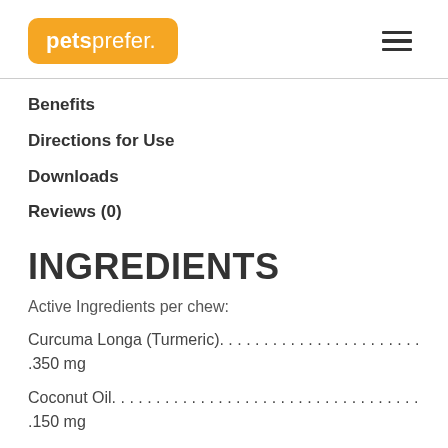[Figure (logo): Petsprefer logo — orange rounded rectangle with white text reading 'petsprefer.']
Benefits
Directions for Use
Downloads
Reviews (0)
INGREDIENTS
Active Ingredients per chew:
Curcuma Longa (Turmeric)............................350 mg
Coconut Oil.............................................150 mg